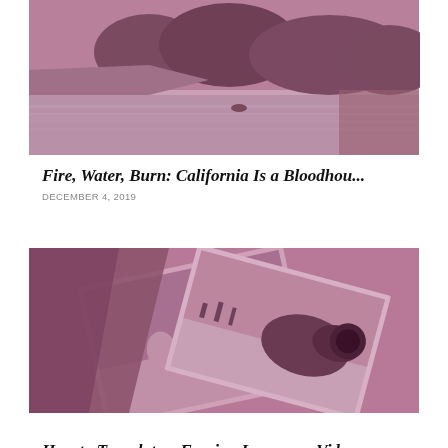[Figure (photo): A purple-tinted landscape photo showing a lake with green hills and trees in the background]
Fire, Water, Burn: California Is a Bloodhou...
DECEMBER 4, 2019
[Figure (photo): A purple-tinted photo showing vintage photographs scattered, including what appears to be military aircraft and people in a field]
How to Translate a Foreign Language Video...